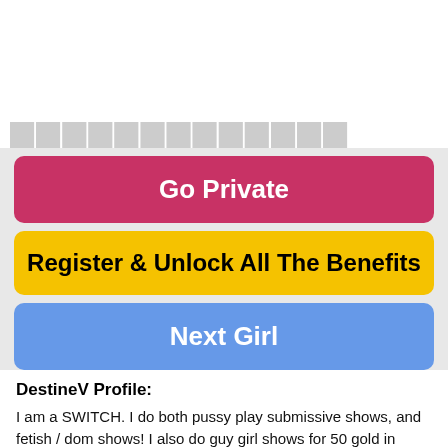[Figure (screenshot): Partial view of webcam or video stream interface, mostly white/blank with partially visible bold text at bottom edge]
Go Private
Register & Unlock All The Benefits
Next Girl
DestineV Profile:
I am a SWITCH. I do both pussy play submissive shows, and fetish / dom shows! I also do guy girl shows for 50 gold in exclusive, as well